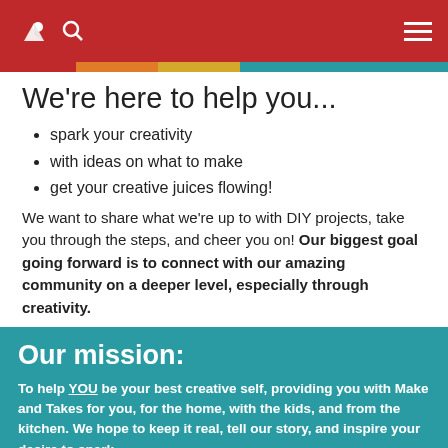Navigation header with bird logo, search icon, and hamburger menu on red background
We're here to help you...
spark your creativity
with ideas on what to make
get your creative juices flowing!
We want to share what we're up to with DIY projects, take you through the steps, and cheer you on! Our biggest goal going forward is to connect with our amazing community on a deeper level, especially through creativity.
Our mission:
To help YOU be your best creative self, providing you with Make and Takes for you, for the home, with the kids, and from the kitchen. We hope to keep it real, tell our story, and inspire your desire to spark creativity in this community of amazing makers. We hope to surprise and delight the creative MAKER MAMA & PAPA in you!